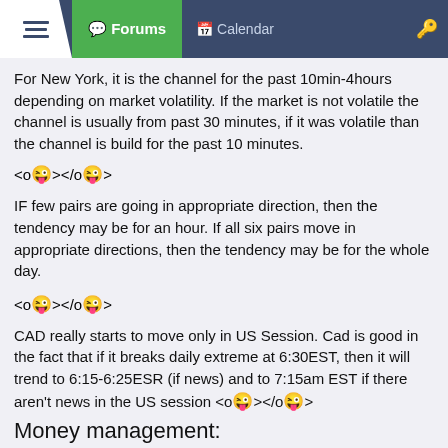Forums | Calendar
For New York, it is the channel for the past 10min-4hours depending on market volatility. If the market is not volatile the channel is usually from past 30 minutes, if it was volatile than the channel is build for the past 10 minutes.
<o😜></o😜>
IF few pairs are going in appropriate direction, then the tendency may be for an hour. If all six pairs move in appropriate directions, then the tendency may be for the whole day.
<o😜></o😜>
CAD really starts to move only in US Session. Cad is good in the fact that if it breaks daily extreme at 6:30EST, then it will trend to 6:15-6:25ESR (if news) and to 7:15am EST if there aren't news in the US session
<o😜></o😜>
Money management:
[Figure (screenshot): FOREX.com advertisement banner: 'LEVEL UP YOUR TRADING' with green background, small disclaimer text, and a dark trading interface screenshot on the right.]